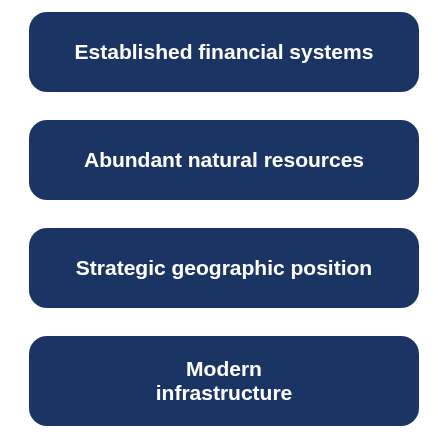Established financial systems
Abundant natural resources
Strategic geographic position
Modern infrastructure